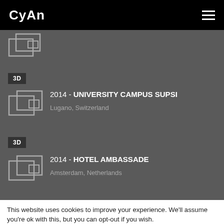CyAn
[Figure (illustration): Small building/floor plan icon (partial, top of page)]
3D
[Figure (illustration): Building/floor plan icon for University Campus SUPSI entry]
2014 - UNIVERSITY CAMPUS SUPSI
Lugano, Switzerland
3D
[Figure (illustration): Building/floor plan icon for Hotel Ambassade entry]
2014 - HOTEL AMBASSADE
Amsterdam, Netherlands
This website uses cookies to improve your experience. We'll assume you're ok with this, but you can opt-out if you wish.
Cookie settings  ACCEPT  Read More